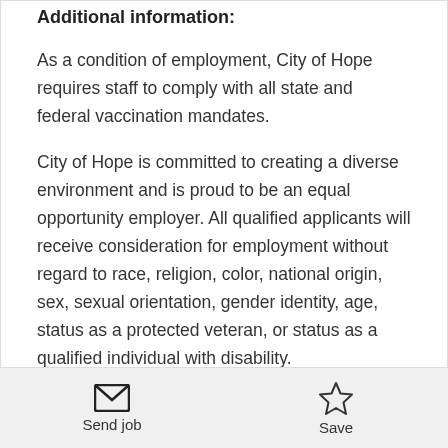Additional information:
As a condition of employment, City of Hope requires staff to comply with all state and federal vaccination mandates.
City of Hope is committed to creating a diverse environment and is proud to be an equal opportunity employer. All qualified applicants will receive consideration for employment without regard to race, religion, color, national origin, sex, sexual orientation, gender identity, age, status as a protected veteran, or status as a qualified individual with disability.
Send job  Save